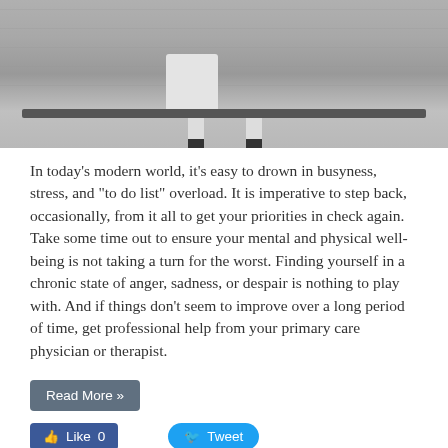[Figure (photo): Black and white photograph of a person sitting on a bench, showing legs and lower body from below the waist.]
In today’s modern world, it’s easy to drown in busyness, stress, and “to do list” overload. It is imperative to step back, occasionally, from it all to get your priorities in check again. Take some time out to ensure your mental and physical well-being is not taking a turn for the worst. Finding yourself in a chronic state of anger, sadness, or despair is nothing to play with. And if things don’t seem to improve over a long period of time, get professional help from your primary care physician or therapist.
Read More »
Like 0
Tweet
Share
Save
1